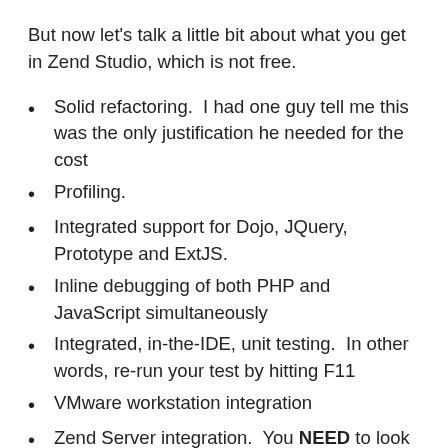But now let's talk a little bit about what you get in Zend Studio, which is not free.
Solid refactoring.  I had one guy tell me this was the only justification he needed for the cost
Profiling.
Integrated support for Dojo, JQuery, Prototype and ExtJS.
Inline debugging of both PHP and JavaScript simultaneously
Integrated, in-the-IDE, unit testing.  In other words, re-run your test by hitting F11
VMware workstation integration
Zend Server integration.  You NEED to look at Code Tracing.
Enhanced remote system support.  Some of this is there, but there are some cool new features coming